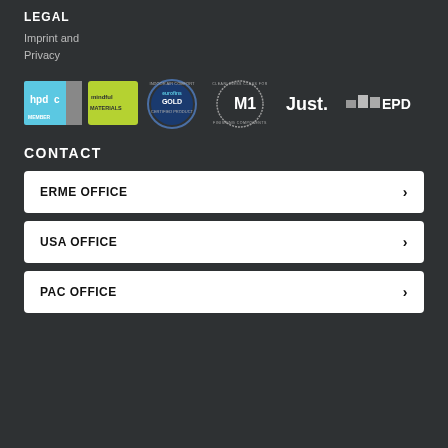LEGAL
Imprint and
Privacy
[Figure (logo): Row of certification logos: hpdc MEMBER, mindful MATERIALS, eurofins Indoor Air Comfort Gold Certified Product, M1 Cleanliness Class for Finishing Components, Just., EPD]
CONTACT
ERME OFFICE
USA OFFICE
PAC OFFICE